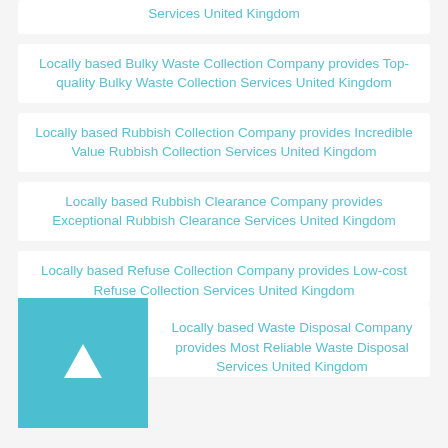Services United Kingdom
Locally based Bulky Waste Collection Company provides Top-quality Bulky Waste Collection Services United Kingdom
Locally based Rubbish Collection Company provides Incredible Value Rubbish Collection Services United Kingdom
Locally based Rubbish Clearance Company provides Exceptional Rubbish Clearance Services United Kingdom
Locally based Refuse Collection Company provides Low-cost Refuse Collection Services United Kingdom
Locally based Waste Disposal Company provides Most Reliable Waste Disposal Services United Kingdom